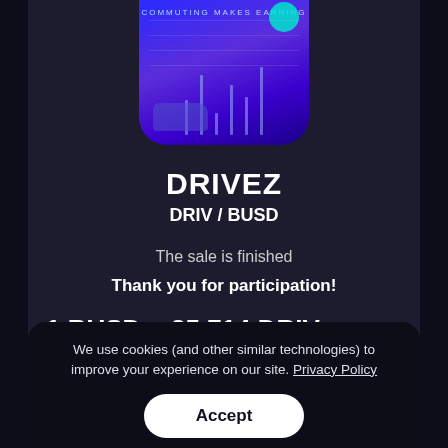[Figure (screenshot): DRIVEZ app icon showing blue/purple gradient background with 'COMMUTING MAKES EARNING' text, bar chart elements, and a teal circle accent]
DRIVEZ
DRIV / BUSD
The sale is finished
Thank you for participation!
1 BUSD = 35.714 DRIV
1 DRIV = 0.028 BUSD
We use cookies (and other similar technologies) to improve your experience on our site. Privacy Policy
Accept